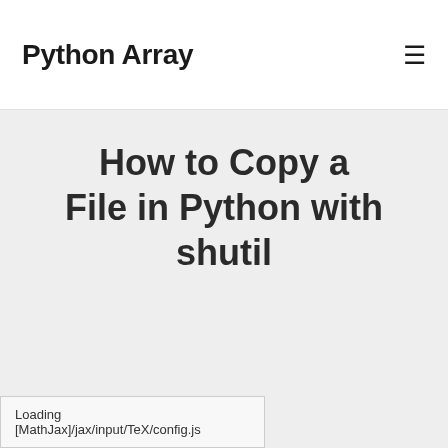Python Array
How to Copy a File in Python with shutil
Loading [MathJax]/jax/input/TeX/config.js